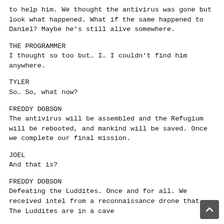to help him. We thought the antivirus was gone but look what happened. What if the same happened to Daniel? Maybe he’s still alive somewhere.
THE PROGRAMMER
I thought so too but… I… I couldn’t find him anywhere.
TYLER
So… So, what now?
FREDDY DOBSON
The antivirus will be assembled and the Refugium will be rebooted, and mankind will be saved. Once we complete our final mission.
JOEL
And that is?
FREDDY DOBSON
Defeating the Luddites. Once and for all. We received intel from a reconnaissance drone that The Luddites are in a cave